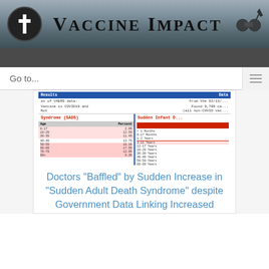Vaccine Impact
Go to...
[Figure (screenshot): Partial screenshot of a VAERS data table showing Sudden Adult Death Syndrome (SADS) and Sudden Infant Death categories with age breakdowns and counts]
Doctors "Baffled" by Sudden Increase in "Sudden Adult Death Syndrome" despite Government Data Linking Increased